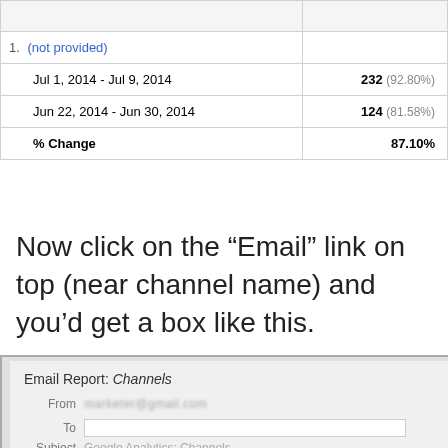|  |  |
| --- | --- |
|  |  |
| 1. (not provided) |  |
| Jul 1, 2014 - Jul 9, 2014 | 232 (92.80%) |
| Jun 22, 2014 - Jun 30, 2014 | 124 (81.58%) |
| % Change | 87.10% |
Now click on the “Email” link on top (near channel name) and you’d get a box like this.
[Figure (screenshot): Screenshot of Google Analytics Email Report dialog box showing 'Email Report: Channels' title, From field with blurred email address, To field (empty), and partial Subject field.]